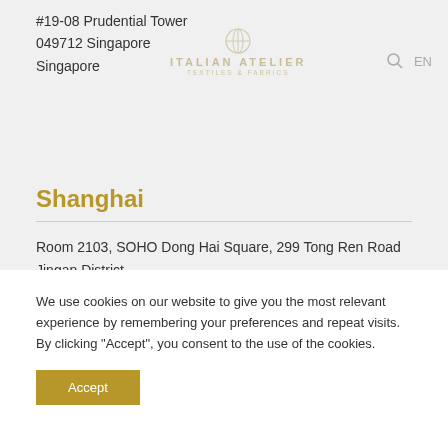Italian Atelier logo with search and EN navigation
#19-08 Prudential Tower
049712 Singapore
Singapore
Shanghai
Room 2103, SOHO Dong Hai Square, 299 Tong Ren Road
Jingan District
200040 Shanghai
China
We use cookies on our website to give you the most relevant experience by remembering your preferences and repeat visits. By clicking “Accept”, you consent to the use of the cookies.